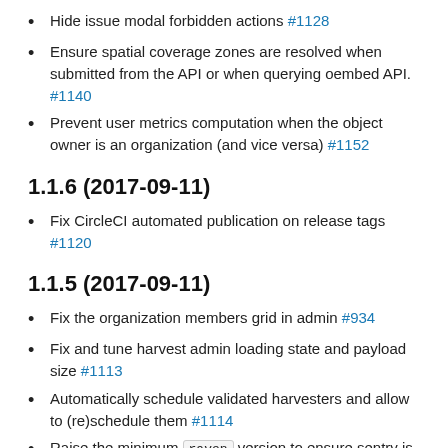Hide issue modal forbidden actions #1128
Ensure spatial coverage zones are resolved when submitted from the API or when querying oembed API. #1140
Prevent user metrics computation when the object owner is an organization (and vice versa) #1152
1.1.6 (2017-09-11)
Fix CircleCI automated publication on release tags #1120
1.1.5 (2017-09-11)
Fix the organization members grid in admin #934
Fix and tune harvest admin loading state and payload size #1113
Automatically schedule validated harvesters and allow to (re)schedule them #1114
Raise the minimum raven version to ensure sentry is